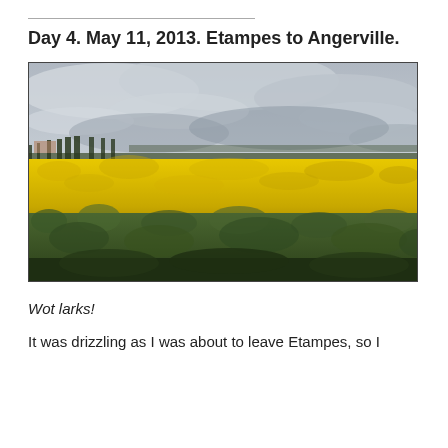Day 4. May 11, 2013. Etampes to Angerville.
[Figure (photo): Wide landscape photograph of a vast field of bright yellow rapeseed (canola) flowers in full bloom under a cloudy grey sky. A row of dark trees is visible on the horizon. Green vegetation is in the foreground.]
Wot larks!
It was drizzling as I was about to leave Etampes, so I